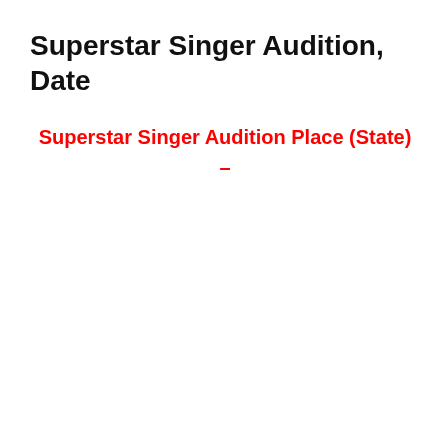Superstar Singer Audition, Date
Superstar Singer Audition Place (State)
–